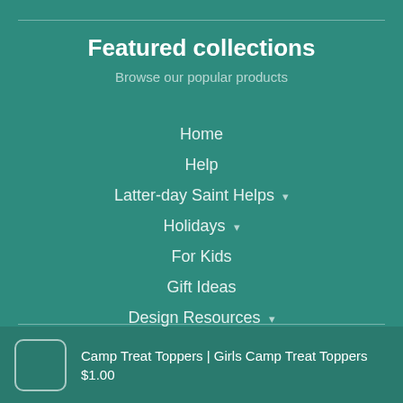Featured collections
Browse our popular products
Home
Help
Latter-day Saint Helps ▾
Holidays ▾
For Kids
Gift Ideas
Design Resources ▾
Amazing Bundles
$5 Deals
$1 Deals
Freebies
Camp Treat Toppers | Girls Camp Treat Toppers $1.00